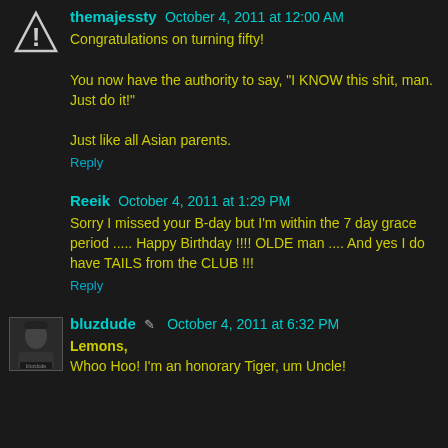themajessty October 4, 2011 at 12:00 AM
Congratulations on turning fifty!

You now have the authority to say, "I KNOW this shit, man. Just do it!"

Just like all Asian parents.
Reply
Reeik October 4, 2011 at 1:29 PM
Sorry I missed your B-day but I'm within the 7 day grace period ..... Happy Birthday !!!! OLDE man .... And yes I do have TAILS from the CLUB !!!
Reply
bluzdude October 4, 2011 at 6:32 PM
Lemons,
Whoo Hoo! I'm an honorary Tiger, um Uncle!